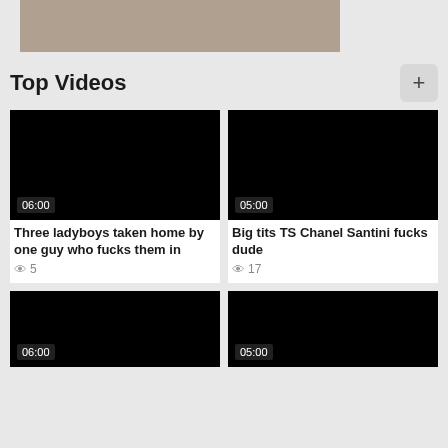[Figure (photo): Partial top image visible, cropped at top of page]
Top Videos
[Figure (screenshot): Video thumbnail black, duration 06:00]
Three ladyboys taken home by one guy who fucks them in
5
[Figure (screenshot): Video thumbnail black, duration 05:00]
Big tits TS Chanel Santini fucks dude
17
[Figure (screenshot): Video thumbnail black, duration 06:00]
[Figure (screenshot): Video thumbnail black, duration 05:00]